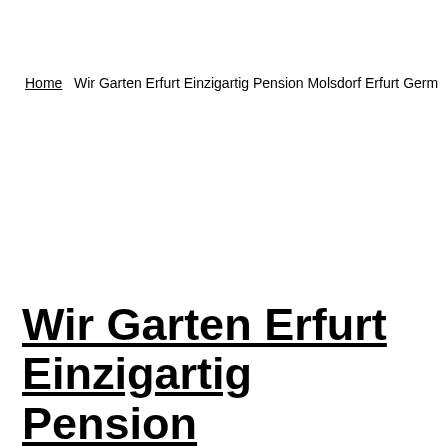Home  Wir Garten Erfurt Einzigartig Pension Molsdorf Erfurt Germany Booking
Wir Garten Erfurt Einzigartig Pension